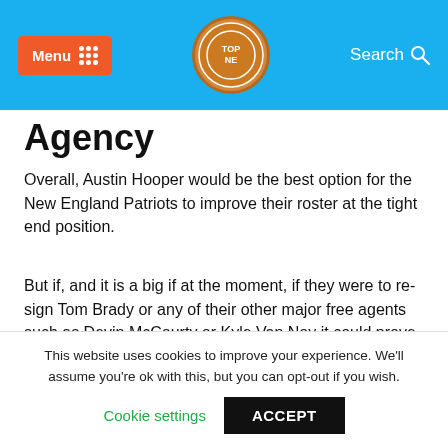Menu  [logo]  Search
Agency
Overall, Austin Hooper would be the best option for the New England Patriots to improve their roster at the tight end position.
But if, and it is a big if at the moment, if they were to re-sign Tom Brady or any of their other major free agents such as Devin McCourty or Kyle Van Noy it could prove difficult.
This website uses cookies to improve your experience. We'll assume you're ok with this, but you can opt-out if you wish.
Cookie settings   ACCEPT